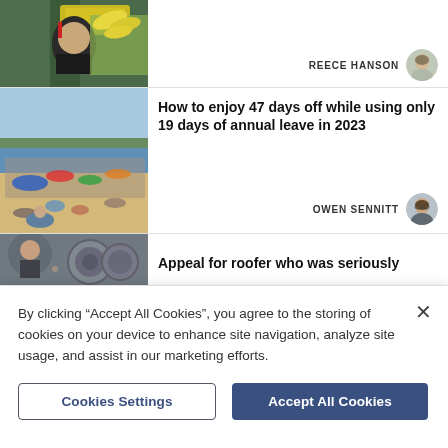[Figure (photo): Partial article card showing a woman in black uniform in a grocery store with bananas, author REECE HANSON]
[Figure (photo): Beach scene crowded with people, umbrellas and sunbathers on a sunny day]
How to enjoy 47 days off while using only 19 days of annual leave in 2023
[Figure (photo): Partial image of a roofer, partial article card]
Appeal for roofer who was seriously
By clicking “Accept All Cookies”, you agree to the storing of cookies on your device to enhance site navigation, analyze site usage, and assist in our marketing efforts.
Cookies Settings
Accept All Cookies